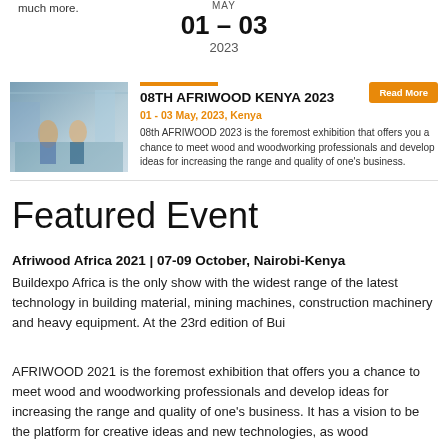much more.
MAY
01 - 03
2023
08TH AFRIWOOD KENYA 2023
01 - 03 May, 2023, Kenya
08th AFRIWOOD 2023 is the foremost exhibition that offers you a chance to meet wood and woodworking professionals and develop ideas for increasing the range and quality of one's business.
Featured Event
Afriwood Africa 2021 | 07-09 October, Nairobi-Kenya
Buildexpo Africa is the only show with the widest range of the latest technology in building material, mining machines, construction machinery and heavy equipment. At the 23rd edition of Bui
AFRIWOOD 2021 is the foremost exhibition that offers you a chance to meet wood and woodworking professionals and develop ideas for increasing the range and quality of one's business. It has a vision to be the platform for creative ideas and new technologies, as wood manufacturers and traders turn their attention towards innovative resources that would initiate